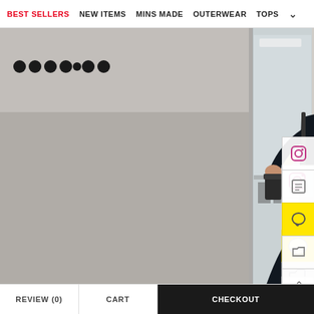BEST SELLERS  NEW ITEMS  MINS MADE  OUTERWEAR  TOPS
[Figure (photo): A woman wearing a black long maxi dress with a mermaid/fishtail hem, holding a coffee cup and a beige bag, standing in front of a modern glass-facade store. The background shows a grey stone wall with a decorative circular logo mark sign on the left side, and the interior of a modern office/store is visible through the glass on the right.]
REVIEW (0)   CART   CHECKOUT